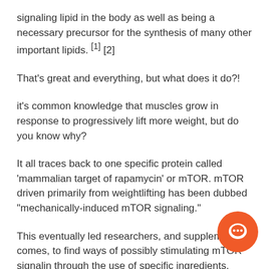signaling lipid in the body as well as being a necessary precursor for the synthesis of many other important lipids. [1] [2]
That's great and everything, but what does it do?!
it's common knowledge that muscles grow in response to progressively lift more weight, but do you know why?
It all traces back to one specific protein called 'mammalian target of rapamycin' or mTOR. mTOR driven primarily from weightlifting has been dubbed "mechanically-induced mTOR signaling."
This eventually led researchers, and supplement companies, to find ways of possibly stimulating mTOR signaling through the use of specific ingredients, some of these have